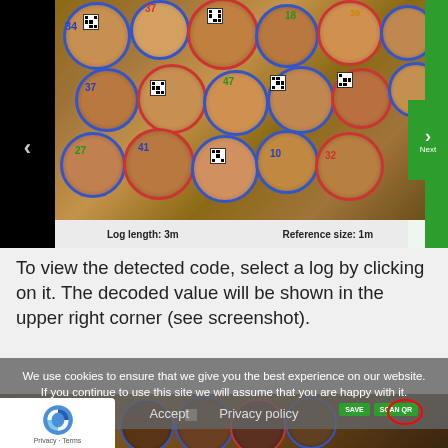[Figure (screenshot): Screenshot of a log scanning application showing cross-sections of cut logs stacked together, each marked with blue/red circles and QR codes. Bottom bar shows 'Log length: 3m' and 'Reference size: 1m'. Navigation arrows on left and right with green Next button.]
To view the detected code, select a log by clicking on it. The decoded value will be shown in the upper right corner (see screenshot).
[Figure (screenshot): Partially visible screenshot of the log scanning app at the bottom, overlaid by a cookie consent banner. A reCAPTCHA badge is visible at the bottom left. Scan QR and Save buttons visible at top right with a red circle highlight.]
We use cookies to ensure that we give you the best experience on our website. If you continue to use this site we will assume that you are happy with it.